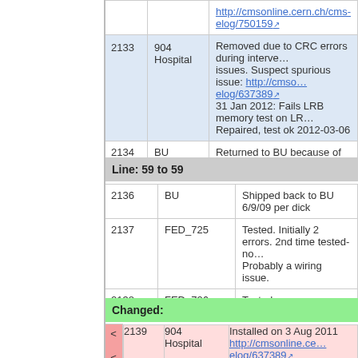|  | Status | Description |
| --- | --- | --- |
|  |  | http://cmsonline.cern.ch/cms-elog/750159 |
| 2133 | 904 Hospital | Removed due to CRC errors during interve... issues. Suspect spurious issue: http://cmso...elog/637389
31 Jan 2012: Fails LRB memory test on LR...
Repaired, test ok 2012-03-06 |
| 2134 | BU | Returned to BU because of alleged mis-ma... |
Line: 59 to 59
|  | Status | Description |
| --- | --- | --- |
| 2136 | BU | Shipped back to BU 6/9/09 per dick |
| 2137 | FED_725 | Tested. Initially 2 errors. 2nd time tested-no...
Probably a wiring issue. |
| 2138 | FED_726 | Tested. |
Changed:
| diff |  | Status | Description |
| --- | --- | --- | --- |
| < | 2139 | 904 Hospital | Installed on 3 Aug 2011 http://cmsonline.ce...elog/637389
Developed memory issues on LRB0 (sp 0,1...
Dec 2011 shutdown. Removed on 24 Jan 2... |